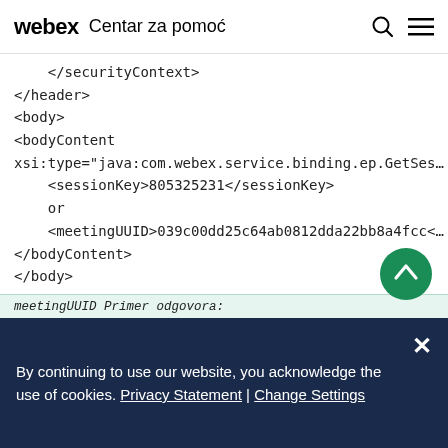webex Centar za pomoć
</securityContext>
</header>
<body>
<bodyContent
xsi:type="java:com.webex.service.binding.ep.GetSes
    <sessionKey>805325231</sessionKey>
    or
    <meetingUUID>039c00dd25c64ab0812dda22bb8a4fcc<
</bodyContent>
</body>
</serv:message>
meetingUUID Primer odgovora:
By continuing to use our website, you acknowledge the use of cookies. Privacy Statement | Change Settings